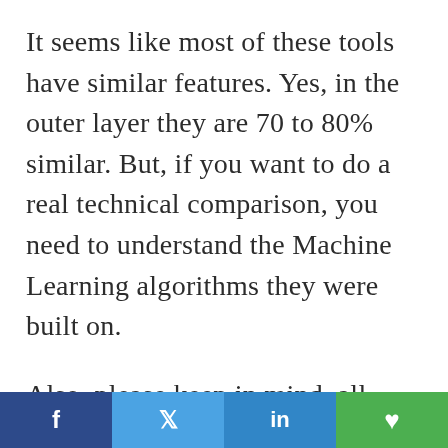It seems like most of these tools have similar features. Yes, in the outer layer they are 70 to 80% similar. But, if you want to do a real technical comparison, you need to understand the Machine Learning algorithms they were built on.
Also, please keep in mind, all these tools work on A.I. algorithms that are [cut off]
Social share bar: Facebook, Twitter, LinkedIn, WhatsApp